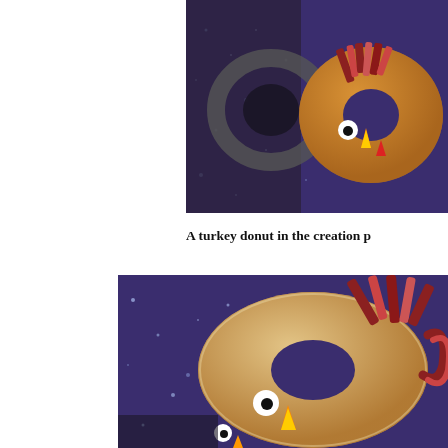[Figure (photo): Close-up of a donut decorated to look like a turkey, placed on a dark purple speckled surface. The donut has candy eyes, bacon strips as feathers, and colorful candy corn decorations.]
A turkey donut in the creation p
[Figure (photo): Another view of a turkey donut on a dark purple speckled surface. The plain sugared donut is decorated with bacon strips as tail feathers, candy eyes, and colorful candy corn.]